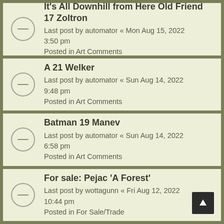It's All Downhill from Here Old Friend
17 Zoltron
Last post by automator « Mon Aug 15, 2022 3:50 pm
Posted in Art Comments
A 21 Welker
Last post by automator « Sun Aug 14, 2022 9:48 pm
Posted in Art Comments
Batman 19 Manev
Last post by automator « Sun Aug 14, 2022 6:58 pm
Posted in Art Comments
For sale: Pejac 'A Forest'
Last post by wottagunn « Fri Aug 12, 2022 10:44 pm
Posted in For Sale/Trade